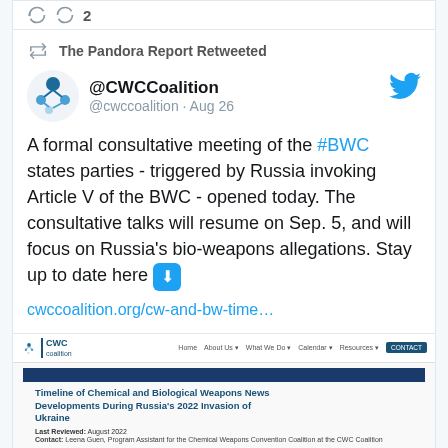2 (like count)
The Pandora Report Retweeted
@CWCCoalition @cwccoalition · Aug 26
A formal consultative meeting of the #BWC states parties - triggered by Russia invoking Article V of the BWC - opened today. The consultative talks will resume on Sep. 5, and will focus on Russia's bio-weapons allegations. Stay up to date here ⬇ cwccoalition.org/cw-and-bw-time…
[Figure (screenshot): Screenshot of CWC Coalition website page titled 'Timeline of Chemical and Biological Weapons News Developments During Russia's 2022 Invasion of Ukraine']